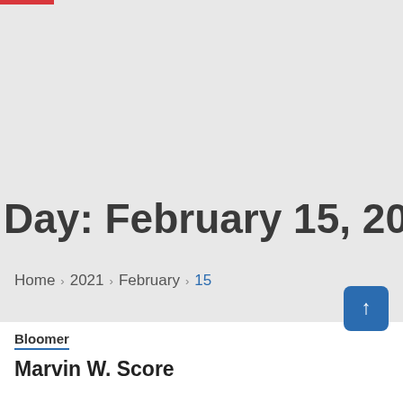Day: February 15, 2021
Home › 2021 › February › 15
Bloomer
Marvin W. Score